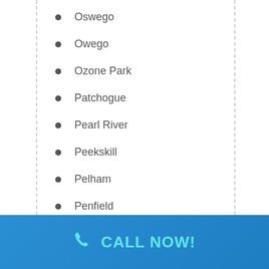Oswego
Owego
Ozone Park
Patchogue
Pearl River
Peekskill
Pelham
Penfield
CALL NOW!